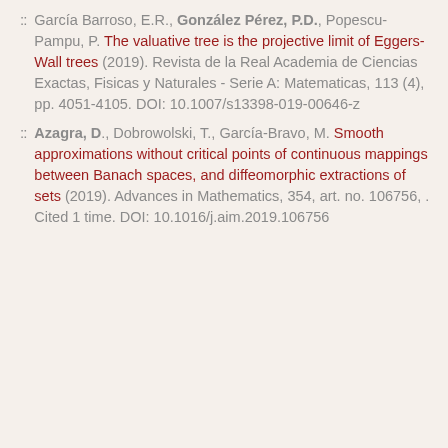García Barroso, E.R., González Pérez, P.D., Popescu-Pampu, P. The valuative tree is the projective limit of Eggers-Wall trees (2019). Revista de la Real Academia de Ciencias Exactas, Fisicas y Naturales - Serie A: Matematicas, 113 (4), pp. 4051-4105. DOI: 10.1007/s13398-019-00646-z
Azagra, D., Dobrowolski, T., García-Bravo, M. Smooth approximations without critical points of continuous mappings between Banach spaces, and diffeomorphic extractions of sets (2019). Advances in Mathematics, 354, art. no. 106756, . Cited 1 time. DOI: 10.1016/j.aim.2019.106756